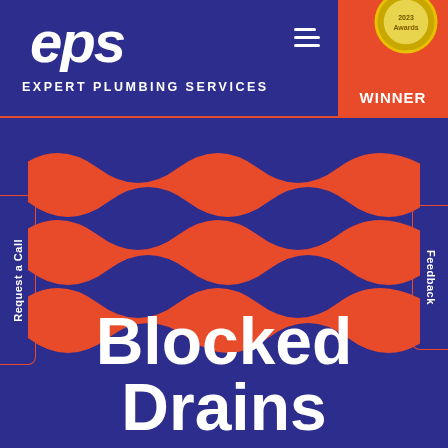[Figure (logo): EPS Expert Plumbing Services logo — stylized 'eps' script in white on dark blue background, with text 'EXPERT PLUMBING SERVICES' below]
[Figure (illustration): Award winner badge in orange corner — gold medal circle above 'WINNER' text in white on orange background]
[Figure (illustration): Three orange wavy horizontal lines (water/drain wave motif) on dark blue background, spanning the full width between left and right side tabs]
Request a Call
Feedback
Blocked Drains